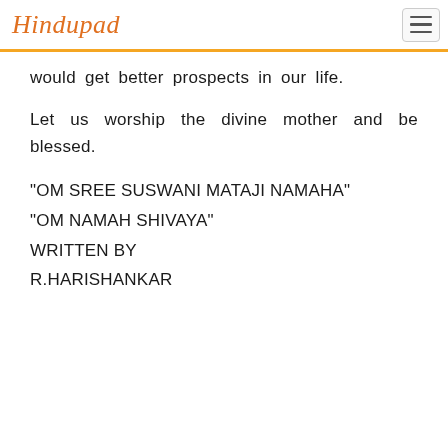Hindupad
would get better prospects in our life.
Let us worship the divine mother and be blessed.
“OM SREE SUSWANI MATAJI NAMAHA”
“OM NAMAH SHIVAYA”
WRITTEN BY
R.HARISHANKAR